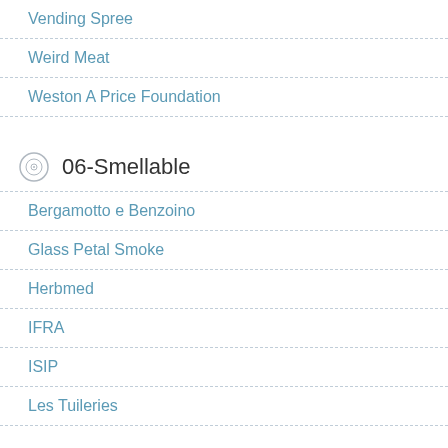Vending Spree
Weird Meat
Weston A Price Foundation
06-Smellable
Bergamotto e Benzoino
Glass Petal Smoke
Herbmed
IFRA
ISIP
Les Tuileries